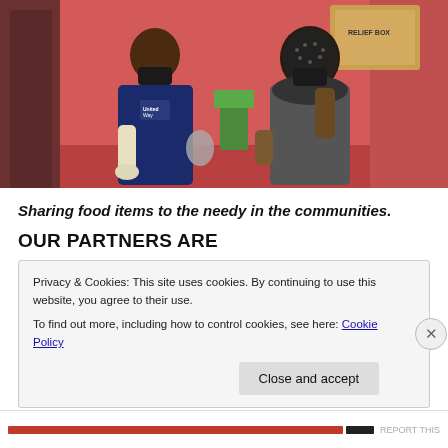[Figure (photo): A person in a navy blue United Way t-shirt and mask handing items to a woman in a black dotted hijab and mask, indoors with pink walls. Another person in background carries a cardboard box labeled 'RELIEF BOX'. The scene depicts food/relief item distribution.]
Sharing food items to the needy in the communities.
OUR PARTNERS ARE
Privacy & Cookies: This site uses cookies. By continuing to use this website, you agree to their use.
To find out more, including how to control cookies, see here: Cookie Policy
Close and accept